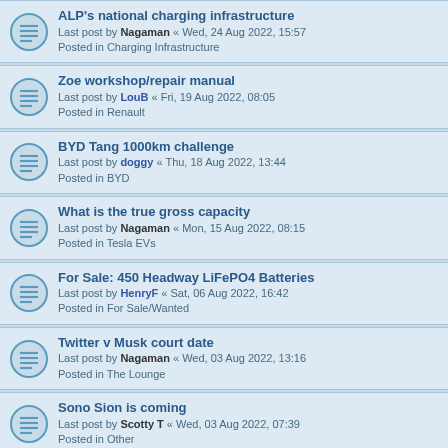ALP's national charging infrastructure — Last post by Nagaman « Wed, 24 Aug 2022, 15:57 — Posted in Charging Infrastructure
Zoe workshop/repair manual — Last post by LouB « Fri, 19 Aug 2022, 08:05 — Posted in Renault
BYD Tang 1000km challenge — Last post by doggy « Thu, 18 Aug 2022, 13:44 — Posted in BYD
What is the true gross capacity — Last post by Nagaman « Mon, 15 Aug 2022, 08:15 — Posted in Tesla EVs
For Sale: 450 Headway LiFePO4 Batteries — Last post by HenryF « Sat, 06 Aug 2022, 16:42 — Posted in For Sale/Wanted
Twitter v Musk court date — Last post by Nagaman « Wed, 03 Aug 2022, 13:16 — Posted in The Lounge
Sono Sion is coming — Last post by Scotty T « Wed, 03 Aug 2022, 07:39 — Posted in Other
Help restore the Investigator! — Last post by jonescg « Tue, 02 Aug 2022, 21:32 — Posted in AEVA SA Branch
battery recycling — Last post by antiscab « Sat, 30 Jul 2022, 09:31